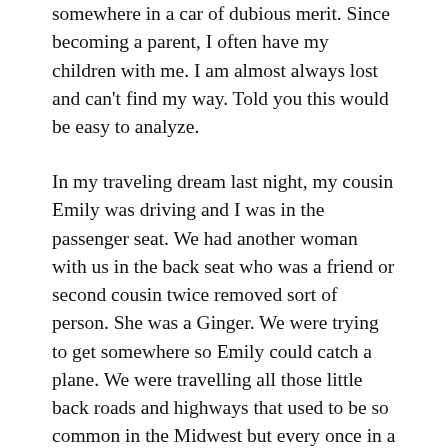somewhere in a car of dubious merit. Since becoming a parent, I often have my children with me. I am almost always lost and can't find my way. Told you this would be easy to analyze.
In my traveling dream last night, my cousin Emily was driving and I was in the passenger seat. We had another woman with us in the back seat who was a friend or second cousin twice removed sort of person. She was a Ginger. We were trying to get somewhere so Emily could catch a plane. We were travelling all those little back roads and highways that used to be so common in the Midwest but every once in a while we would hit a terrifying freeway and have to get off. I took over driving and got lost and pulled into someone's driveway to turn around. We ended up in a small town and the police started